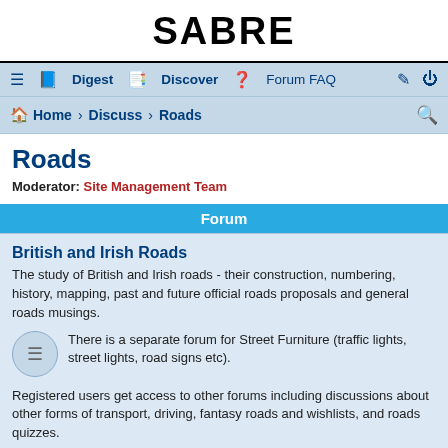SABRE
≡  Digest  Discover  Forum FAQ  [edit icon] [power icon]
Home › Discuss › Roads [search icon]
Roads
Moderator: Site Management Team
Forum
British and Irish Roads
The study of British and Irish roads - their construction, numbering, history, mapping, past and future official roads proposals and general roads musings.
There is a separate forum for Street Furniture (traffic lights, street lights, road signs etc).
Registered users get access to other forums including discussions about other forms of transport, driving, fantasy roads and wishlists, and roads quizzes.
Moderator: Site Management Team
Topics: 21191